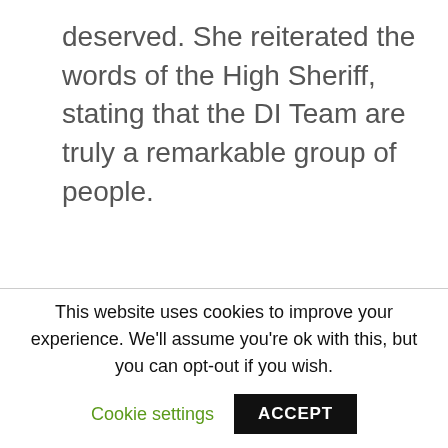deserved. She reiterated the words of the High Sheriff, stating that the DI Team are truly a remarkable group of people.
This website uses cookies to improve your experience. We'll assume you're ok with this, but you can opt-out if you wish.
Cookie settings
ACCEPT